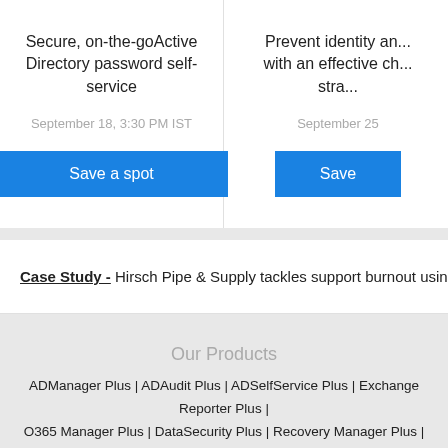Secure, on-the-goActive Directory password self-service
September 18, 3:30 PM IST
Save a spot
Prevent identity an... with an effective ch... stra...
September 25
Save
Case Study - Hirsch Pipe & Supply tackles support burnout using A...
Our Products
ADManager Plus | ADAudit Plus | ADSelfService Plus | Exchange Reporter Plus | O365 Manager Plus | DataSecurity Plus | Recovery Manager Plus | Share...